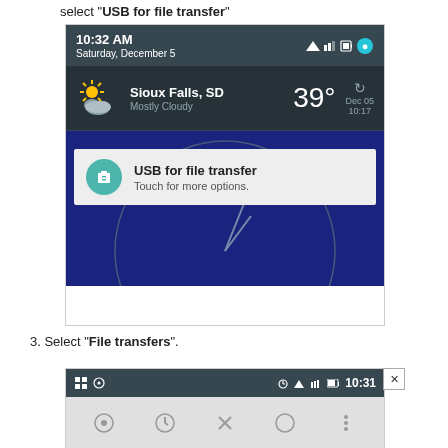select "USB for file transfer"
[Figure (screenshot): Android phone screenshot showing status bar with time 10:32 AM Saturday December 5, a weather widget showing Sioux Falls SD Mostly Cloudy 39 degrees, and a notification card reading USB for file transfer Touch for more options, overlaid on a dark blue analog clock background]
3. Select "File transfers".
[Figure (screenshot): Partial Android phone screenshot showing a dark status bar with time 10:31 and icons, and a light gray bottom navigation area with app icons]